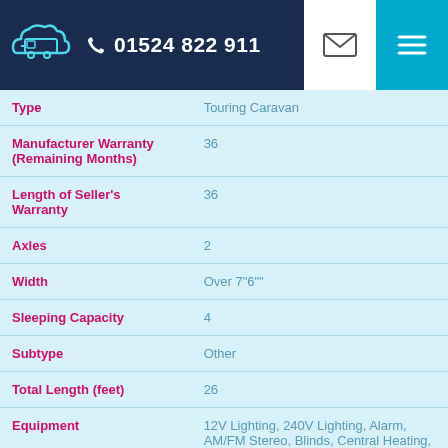01524 822 911
| Field | Value |
| --- | --- |
| Type | Touring Caravan |
| Manufacturer Warranty (Remaining Months) | 36 |
| Length of Seller's Warranty | 36 |
| Axles | 2 |
| Width | Over 7"6"" |
| Sleeping Capacity | 4 |
| Subtype | Other |
| Total Length (feet) | 26 |
| Equipment | 12V Lighting, 240V Lighting, Alarm, AM/FM Stereo, Blinds, Central Heating, Central Seating Group, Cooker, Digital Radio, Double Glazing, External Side Lockers, Fixed Double Bed, Grill, Hand Washbasin, Handicapped Accessible, Mains Hookup, Microwave, Oven, Separate |